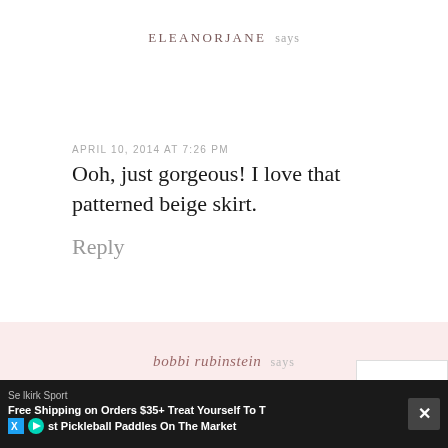ELEANORJANE says
APRIL 10, 2014 AT 7:26 PM
Ooh, just gorgeous! I love that patterned beige skirt.
Reply
bobbi rubinstein says
Selkirk Sport Free Shipping on Orders $35+ Treat Yourself To The st Pickleball Paddles On The Market